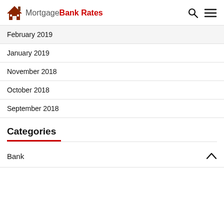Mortgage Bank Rates
February 2019
January 2019
November 2018
October 2018
September 2018
Categories
Bank